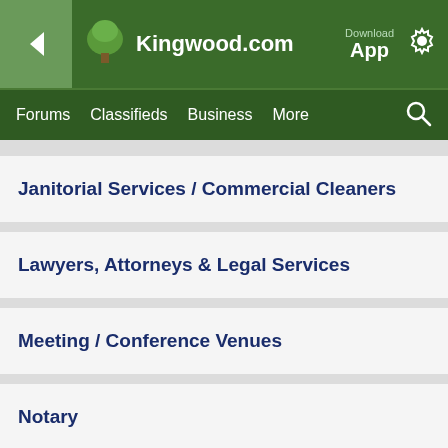Kingwood.com — Download App
Forums  Classifieds  Business  More
Janitorial Services / Commercial Cleaners
Lawyers, Attorneys & Legal Services
Meeting / Conference Venues
Notary
Office Furniture & Supplies